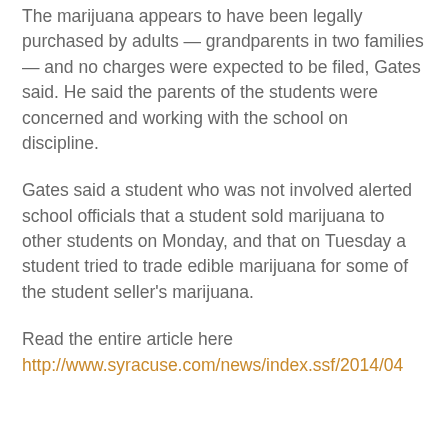The marijuana appears to have been legally purchased by adults — grandparents in two families — and no charges were expected to be filed, Gates said. He said the parents of the students were concerned and working with the school on discipline.
Gates said a student who was not involved alerted school officials that a student sold marijuana to other students on Monday, and that on Tuesday a student tried to trade edible marijuana for some of the student seller's marijuana.
Read the entire article here http://www.syracuse.com/news/index.ssf/2014/04